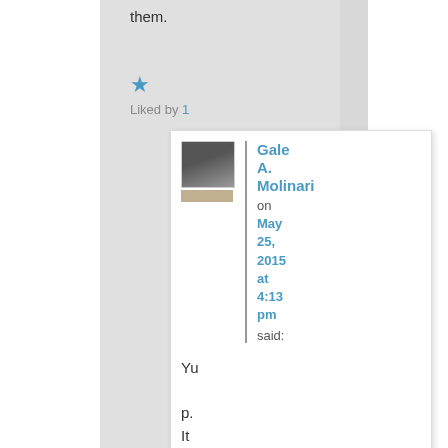them.
[Figure (illustration): Blue star icon for likes]
Liked by 1
[Figure (photo): Avatar photo of commenter Gale A. Molinari]
Gale A. Molinari on May 25, 2015 at 4:13 pm said:
Yup. It is bo